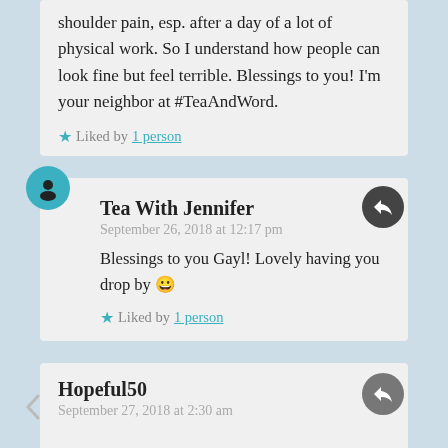shoulder pain, esp. after a day of a lot of physical work. So I understand how people can look fine but feel terrible. Blessings to you! I'm your neighbor at #TeaAndWord.
★ Liked by 1 person
Tea With Jennifer
September 26, 2018 at 12:17 pm
Blessings to you Gayl! Lovely having you drop by 😀
★ Liked by 1 person
Hopeful50
September 27, 2018 at 2:30 am